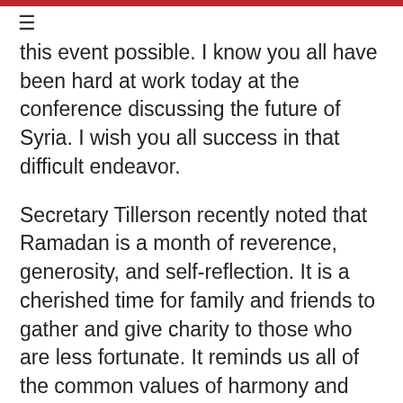≡
this event possible. I know you all have been hard at work today at the conference discussing the future of Syria. I wish you all success in that difficult endeavor.
Secretary Tillerson recently noted that Ramadan is a month of reverence, generosity, and self-reflection. It is a cherished time for family and friends to gather and give charity to those who are less fortunate. It reminds us all of the common values of harmony and empathy we hold dear.
I hope that events such as this dinner tonight will help us to embrace new people and new influences. Despite what you hear in the news, the United States prides itself on being a nation of immigrants. E pluribus unum – out of many one – has been the U.S. national motto for over 200 years. My country is home to 3.3 million people of the Islamic faith